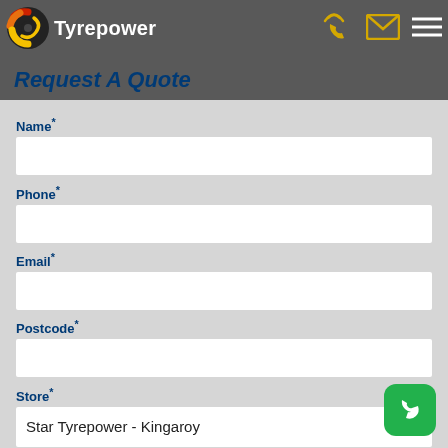Tyrepower
Request A Quote
Name*
Phone*
Email*
Postcode*
Store*
Star Tyrepower - Kingaroy
Message (optional)